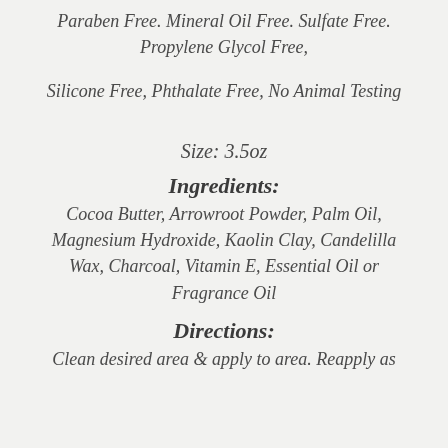Paraben Free. Mineral Oil Free. Sulfate Free. Propylene Glycol Free,
Silicone Free, Phthalate Free, No Animal Testing
Size: 3.5oz
Ingredients:
Cocoa Butter, Arrowroot Powder, Palm Oil, Magnesium Hydroxide, Kaolin Clay, Candelilla Wax, Charcoal, Vitamin E, Essential Oil or Fragrance Oil
Directions:
Clean desired area & apply to area. Reapply as